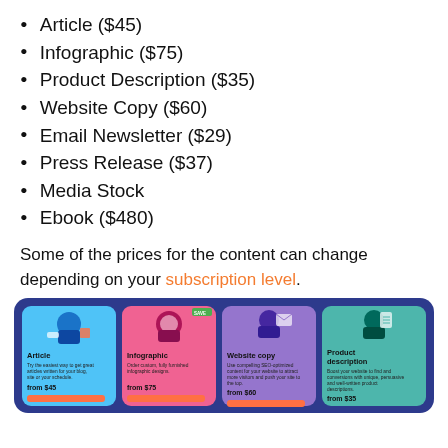Article ($45)
Infographic ($75)
Product Description ($35)
Website Copy ($60)
Email Newsletter ($29)
Press Release ($37)
Media Stock
Ebook ($480)
Some of the prices for the content can change depending on your subscription level.
[Figure (infographic): Four content cards on a dark blue background showing Article (from $45), Infographic (from $75), Website copy (from $60), and Product description (from $35), each with an illustration and an orange button.]